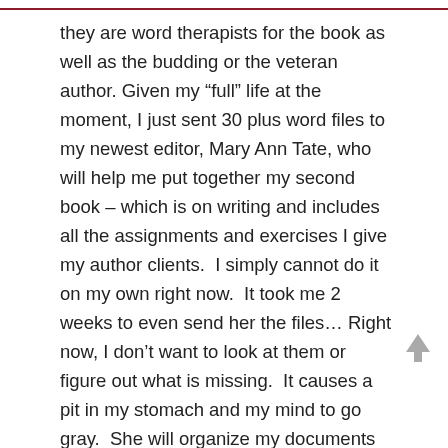they are word therapists for the book as well as the budding or the veteran author. Given my “full” life at the moment, I just sent 30 plus word files to my newest editor, Mary Ann Tate, who will help me put together my second book – which is on writing and includes all the assignments and exercises I give my author clients.  I simply cannot do it on my own right now.  It took me 2 weeks to even send her the files… Right now, I don’t want to look at them or figure out what is missing.  It causes a pit in my stomach and my mind to go gray.  She will organize my documents into something that flows then tell me what is missing so I can write on that point.  It’s time for that book to be